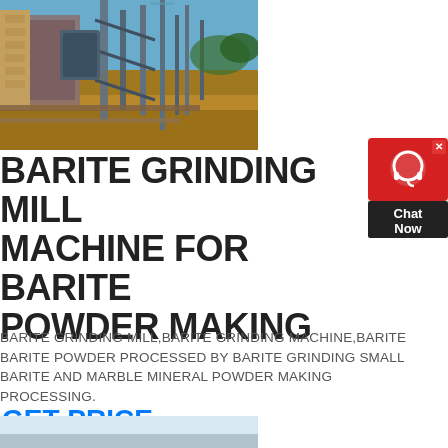[Figure (photo): Industrial grinding mill machinery photographed outdoors, showing large metal structures, pipes, and equipment on brown/rust-colored ground with blue sky in background]
[Figure (infographic): Chat Now widget - red circular background with headset icon, dark triangular pointer, and 'Chat Now' text label]
BARITE GRINDING MILL MACHINE FOR BARITE POWDER MAKING
BARITE GRINDING MILL,BARITE GRINDING MACHINE,BARITE BARITE POWDER PROCESSED BY BARITE GRINDING SMALL BARITE AND MARBLE MINERAL POWDER MAKING PROCESSING.
GET PRICE
[Figure (photo): Partial photo at bottom of page showing sky and light blue/grey tones]